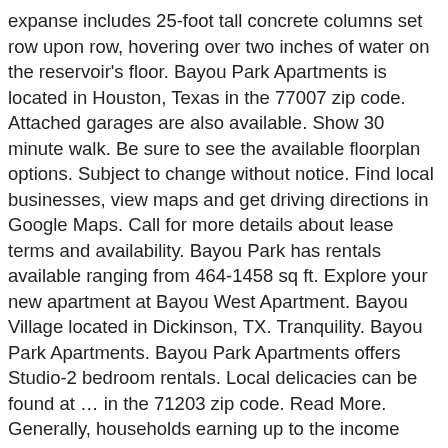expanse includes 25-foot tall concrete columns set row upon row, hovering over two inches of water on the reservoir's floor. Bayou Park Apartments is located in Houston, Texas in the 77007 zip code. Attached garages are also available. Show 30 minute walk. Be sure to see the available floorplan options. Subject to change without notice. Find local businesses, view maps and get driving directions in Google Maps. Call for more details about lease terms and availability. Bayou Park has rentals available ranging from 464-1458 sq ft. Explore your new apartment at Bayou West Apartment. Bayou Village located in Dickinson, TX. Tranquility. Bayou Park Apartments. Bayou Park Apartments offers Studio-2 bedroom rentals. Local delicacies can be found at … in the 71203 zip code. Read More. Generally, households earning up to the income limit in the table below for their household size are eligible for units participating in a HUD rental assistance program in Houston but actual income limits may differ for units at Villas at Bayou Park. The University of Louisiana Monroe is also located in the scenic suburb, offering residents access to plenty of